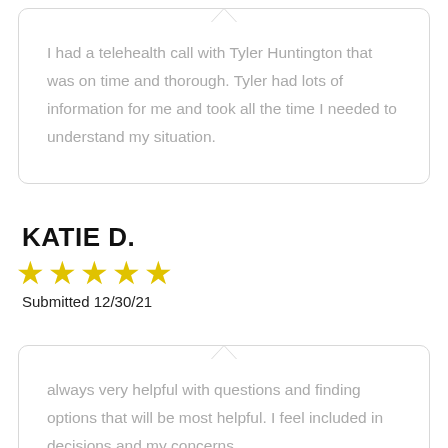I had a telehealth call with Tyler Huntington that was on time and thorough. Tyler had lots of information for me and took all the time I needed to understand my situation.
KATIE D.
[Figure (other): 5 yellow star rating icons]
Submitted 12/30/21
always very helpful with questions and finding options that will be most helpful. I feel included in decisions and my concerns